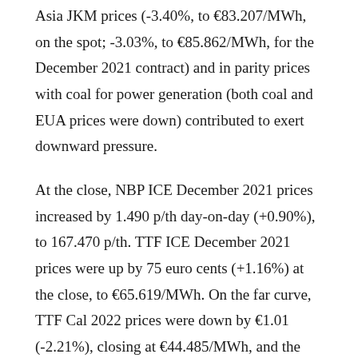Asia JKM prices (-3.40%, to €83.207/MWh, on the spot; -3.03%, to €85.862/MWh, for the December 2021 contract) and in parity prices with coal for power generation (both coal and EUA prices were down) contributed to exert downward pressure.
At the close, NBP ICE December 2021 prices increased by 1.490 p/th day-on-day (+0.90%), to 167.470 p/th. TTF ICE December 2021 prices were up by 75 euro cents (+1.16%) at the close, to €65.619/MWh. On the far curve, TTF Cal 2022 prices were down by €1.01 (-2.21%), closing at €44.485/MWh, and the spread against the coal